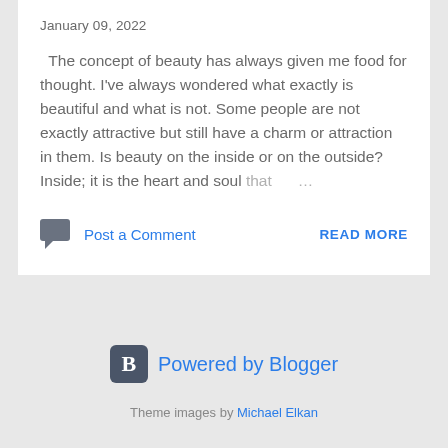January 09, 2022
The concept of beauty has always given me food for thought. I've always wondered what exactly is beautiful and what is not. Some people are not exactly attractive but still have a charm or attraction in them. Is beauty on the inside or on the outside? Inside; it is the heart and soul that ...
Post a Comment
READ MORE
[Figure (logo): Blogger 'B' logo icon in dark gray rounded square]
Powered by Blogger
Theme images by Michael Elkan